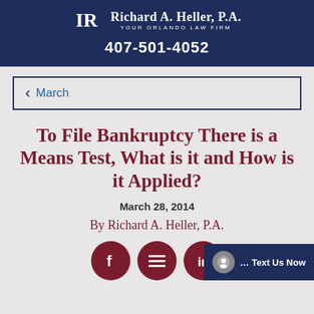Richard A. Heller, P.A. — YOUR ORLANDO LAW FIRM — 407-501-4052
< March
To File Bankruptcy There is a Means Test, What is it and How is it Applied?
March 28, 2014
By Richard A. Heller, P.A.
[Figure (other): Social media share icons (Facebook, share/menu, LinkedIn) and a Text Us Now chat bubble overlay]